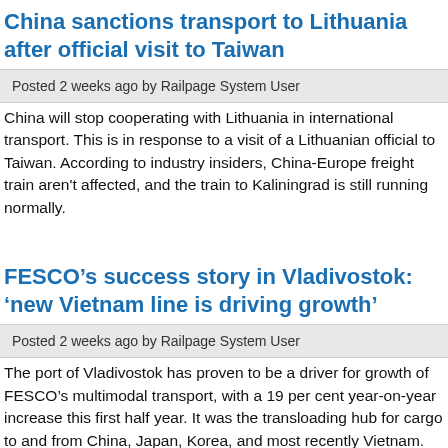China sanctions transport to Lithuania after official visit to Taiwan
Posted 2 weeks ago by Railpage System User
China will stop cooperating with Lithuania in international transport. This is in response to a visit of a Lithuanian official to Taiwan. According to industry insiders, China-Europe freight train aren't affected, and the train to Kaliningrad is still running normally.
FESCO’s success story in Vladivostok: ‘new Vietnam line is driving growth’
Posted 2 weeks ago by Railpage System User
The port of Vladivostok has proven to be a driver for growth of FESCO’s multimodal transport, with a 19 per cent year-on-year increase this first half year. It was the transloading hub for cargo to and from China, Japan, Korea, and most recently Vietnam.